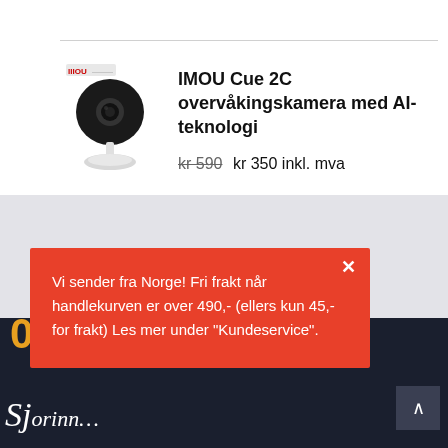[Figure (photo): IMOU Cue 2C security camera product photo — small black sphere camera on white stand with brand logo above]
IMOU Cue 2C overvåkingskamera med AI-teknologi
kr 590 kr 350 inkl. mva
Vi sender fra Norge! Fri frakt når handlekurven er over 490,- (ellers kun 45,- for frakt) Les mer under "Kundeservice".